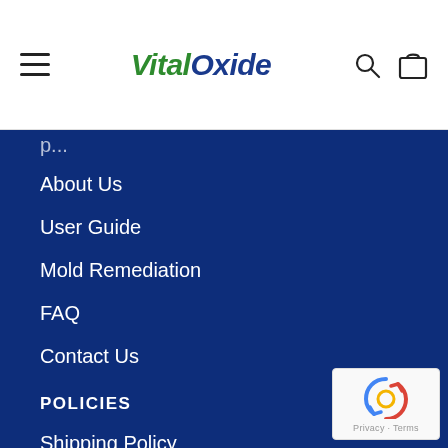VitalOxide
About Us
User Guide
Mold Remediation
FAQ
Contact Us
POLICIES
Shipping Policy
Refund Policy
Privacy Policy
[Figure (logo): reCAPTCHA badge with Privacy and Terms links]